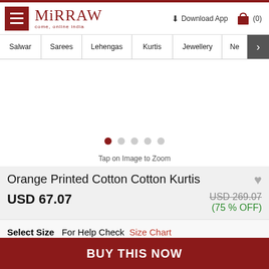Mirraw — come, online india | Download App | (0)
Salwar | Sarees | Lehengas | Kurtis | Jewellery | Ne >
[Figure (photo): Product image carousel placeholder with 5 dots (first dot active in dark red)]
Tap on Image to Zoom
Orange Printed Cotton Cotton Kurtis
USD 67.07
USD 269.07
(75 % OFF)
Select Size   For Help Check  Size Chart
BUY THIS NOW